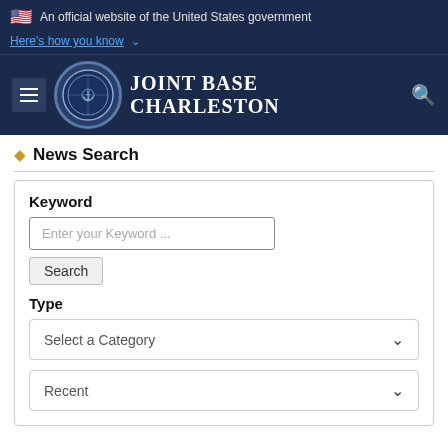An official website of the United States government
Here's how you know
Joint Base Charleston
News Search
Keyword
Enter your Keyword ...
Search
Type
Select a Category
Recent
NEWS | Aug. 14, 2018